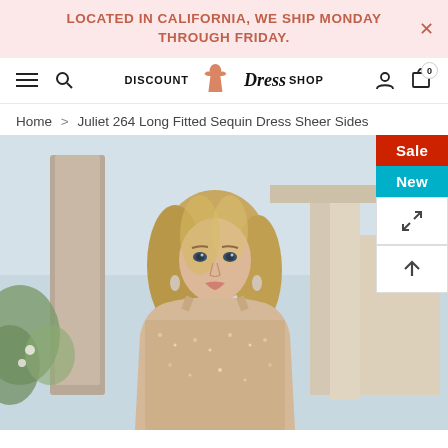LOCATED IN CALIFORNIA, WE SHIP MONDAY THROUGH FRIDAY.
DISCOUNT Dress SHOP — Navigation bar with hamburger, search, logo, user, cart (0)
Home > Juliet 264 Long Fitted Sequin Dress Sheer Sides
[Figure (photo): Close-up photo of a blonde model wearing a fitted sequin dress with sheer sides, photographed outdoors with columns and foliage in the background. Sale and New badges visible on the right side.]